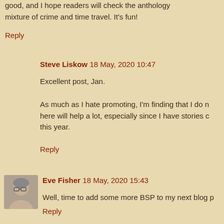good, and I hope readers will check the anthology mixture of crime and time travel. It's fun!
Reply
Steve Liskow 18 May, 2020 10:47
Excellent post, Jan.
As much as I hate promoting, I'm finding that I do n here will help a lot, especially since I have stories c this year.
Reply
[Figure (photo): Avatar photo of Eve Fisher, a woman with glasses]
Eve Fisher 18 May, 2020 15:43
Well, time to add some more BSP to my next blog p
Reply